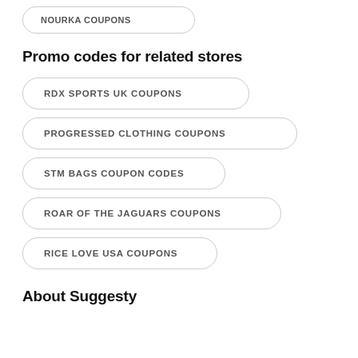NOURKA COUPONS
Promo codes for related stores
RDX SPORTS UK COUPONS
PROGRESSED CLOTHING COUPONS
STM BAGS COUPON CODES
ROAR OF THE JAGUARS COUPONS
RICE LOVE USA COUPONS
About Suggesty